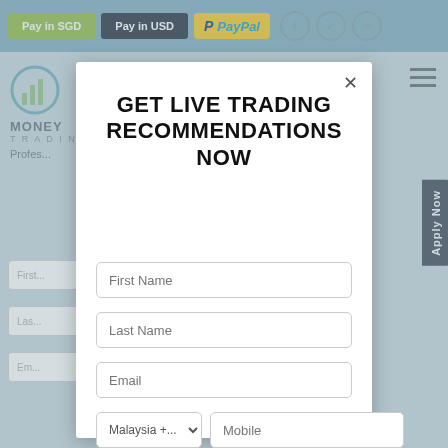Pay in SGD | Pay in USD | PayPal | Facebook | Twitter | LinkedIn
[Figure (screenshot): Background page showing Money trading website with logo, hamburger menu, Apply Now button, and partially visible form fields]
GET LIVE TRADING RECOMMENDATIONS NOW
First Name input field
Last Name input field
Email input field
Malaysia country selector and Mobile input field